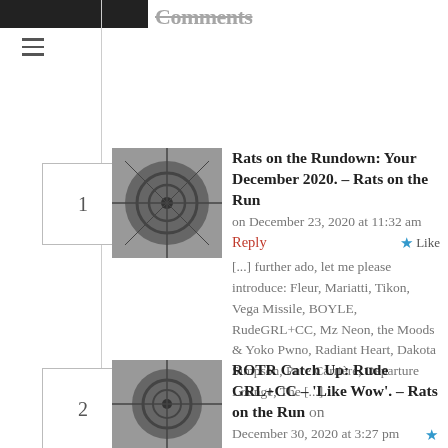Comments
1. Rats on the Rundown: Your December 2020. – Rats on the Run on December 23, 2020 at 11:32 am
Reply | Like
[...] further ado, let me please introduce: Fleur, Mariatti, Tikon, Vega Missile, BOYLE, RudeGRL+CC, Mz Neon, the Moods & Yoko Pwno, Radiant Heart, Dakota Simpson, Pure Carrière, Departure Lounge, The [...]
2. ROTR Catch Up: Rude GRL+CC – 'Like Wow'. – Rats on the Run on December 30, 2020 at 3:27 pm